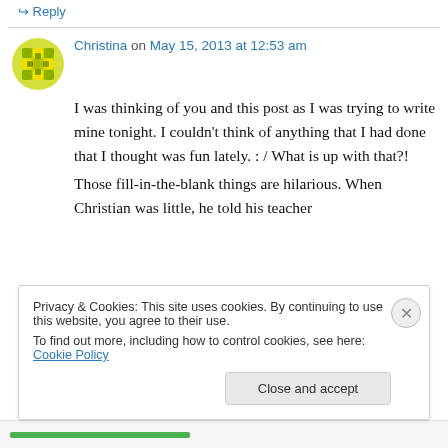↪ Reply
Christina on May 15, 2013 at 12:53 am
I was thinking of you and this post as I was trying to write mine tonight. I couldn't think of anything that I had done that I thought was fun lately. : / What is up with that?!
Those fill-in-the-blank things are hilarious. When Christian was little, he told his teacher
Privacy & Cookies: This site uses cookies. By continuing to use this website, you agree to their use.
To find out more, including how to control cookies, see here: Cookie Policy
Close and accept